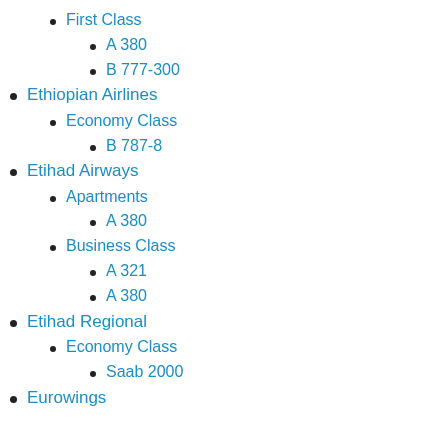First Class
A 380
B 777-300
Ethiopian Airlines
Economy Class
B 787-8
Etihad Airways
Apartments
A 380
Business Class
A 321
A 380
Etihad Regional
Economy Class
Saab 2000
Eurowings